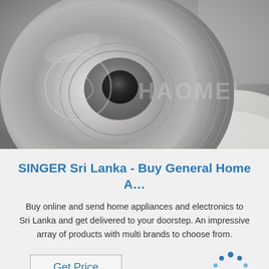[Figure (photo): Close-up photo of a metallic disc (brake rotor) with a circular hole in the center, showing machined concentric grooves on a brushed metal surface. A white cloth/foam material is visible in the lower right corner. Watermark text 'HAOMEI' with a logo is overlaid on the image.]
SINGER Sri Lanka - Buy General Home A…
Buy online and send home appliances and electronics to Sri Lanka and get delivered to your doorstep. An impressive array of products with multi brands to choose from.
[Figure (logo): TOP logo with blue dots arranged in an arc above the word TOP in blue bold letters]
Get Price